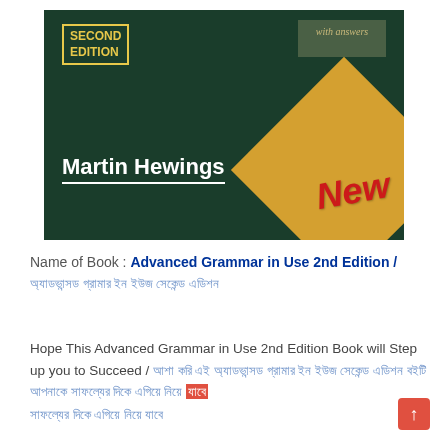[Figure (photo): Book cover of 'Advanced Grammar in Use 2nd Edition' by Martin Hewings. Dark green cover with gold 'SECOND EDITION' text in top left, a diagonal gold banner with 'New' in red italic text, and a small 'with answers' box in top right.]
Name of Book : Advanced Grammar in Use 2nd Edition / অ্যাডভান্সড গ্রামার ইন ইউজ সেকেন্ড এডিশন
Hope This Advanced Grammar in Use 2nd Edition Book will Step up you to Succeed / আশা করি এই অ্যাডভান্সড গ্রামার ইন ইউজ সেকেন্ড এডিশন বইটি আপনাকে সাফল্যের দিকে এগিয়ে নিয়ে যাবে।